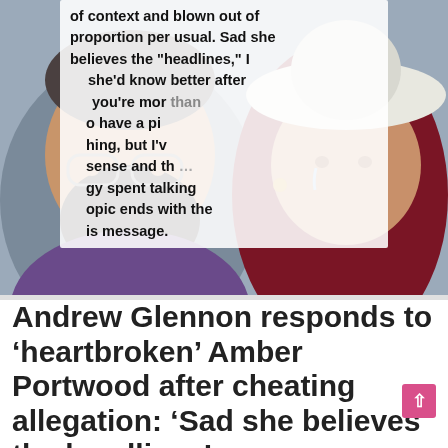[Figure (photo): Composite image showing a bearded man (left) and a woman wearing a white hat and crying (right), overlaid with text of a message containing partial phrases: 'of context and blown out of proportion per usual. Sad she believes the "headlines," I she'd know better after you're mor... o have a pi... hing, but I'v... sense and th... gy spent talking... opic ends with the... is message.' A red heart logo is visible in the top right corner.]
Andrew Glennon responds to ‘heartbroken’ Amber Portwood after cheating allegation: ‘Sad she believes the headlines’
Asa Hawks   July 24, 2019   Amber